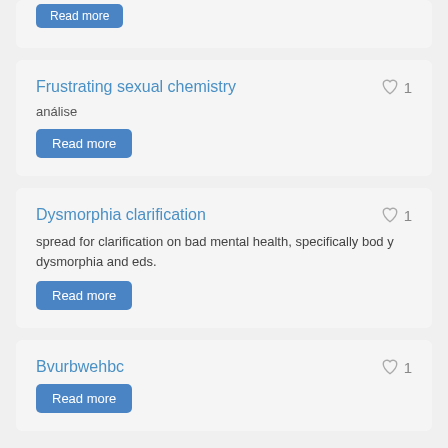[Figure (screenshot): Partial card with Read more button at top of page]
Frustrating sexual chemistry
análise
Read more
Dysmorphia clarification
spread for clarification on bad mental health, specifically body dysmorphia and eds.
Read more
Bvurbwehbc
Read more